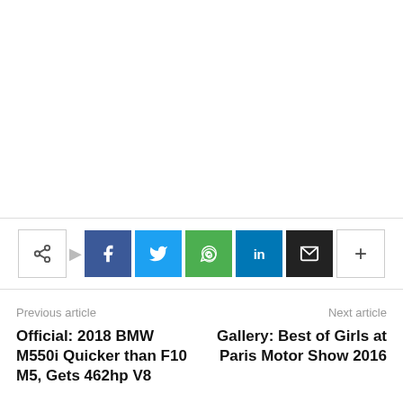[Figure (infographic): Social share bar with share icon, Facebook, Twitter, WhatsApp, LinkedIn, Email, and more (+) buttons]
Previous article
Next article
Official: 2018 BMW M550i Quicker than F10 M5, Gets 462hp V8
Gallery: Best of Girls at Paris Motor Show 2016